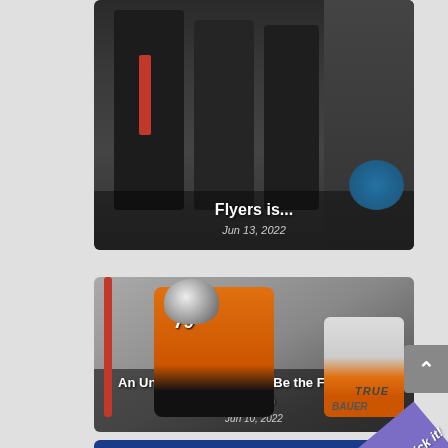[Figure (photo): Partial view of men in suits at a hockey-related press event, with a Philadelphia Flyers context. Cropped at top showing only lower portion.]
Flyers is...
Jun 13, 2022
[Figure (photo): Philadelphia Flyers hockey goalie wearing #79 orange and white jersey and helmet, holding goalie equipment, in front of a red goal post.]
An Unpopular Move May Be the Flyers' Best Option
Jun 10, 2022
[Figure (photo): Partial view of another article card with blue background, cropped at bottom of page.]